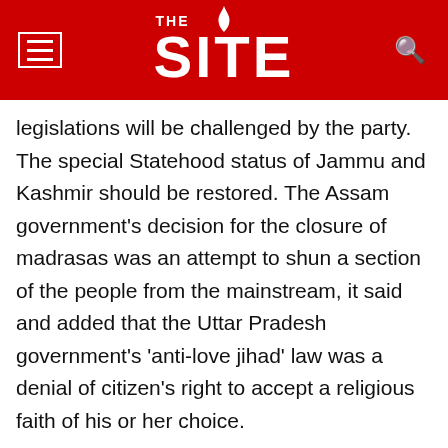THE SITE
legislations will be challenged by the party. The special Statehood status of Jammu and Kashmir should be restored. The Assam government's decision for the closure of madrasas was an attempt to shun a section of the people from the mainstream, it said and added that the Uttar Pradesh government's 'anti-love jihad' law was a denial of citizen's right to accept a religious faith of his or her choice.
IUML political affairs committee president Panakkad Syed Hyder Ali Shihab Thangal inaugurated the meeting. IUML president K.M.